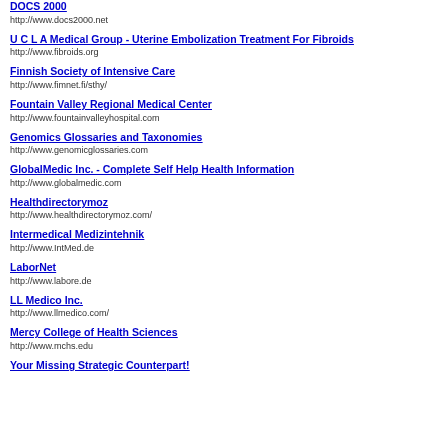DOCS 2000
http://www.docs2000.net
U C L A Medical Group - Uterine Embolization Treatment For Fibroids
http://www.fibroids.org
Finnish Society of Intensive Care
http://www.fimnet.fi/sthy/
Fountain Valley Regional Medical Center
http://www.fountainvalleyhospital.com
Genomics Glossaries and Taxonomies
http://www.genomicglossaries.com
GlobalMedic Inc. - Complete Self Help Health Information
http://www.globalmedic.com
Healthdirectorymoz
http://www.healthdirectorymoz.com/
Intermedical Medizintehnik
http://www.IntMed.de
LaborNet
http://www.labore.de
LL Medico Inc.
http://www.llmedico.com/
Mercy College of Health Sciences
http://www.mchs.edu
Your Missing Strategic Counterpart!